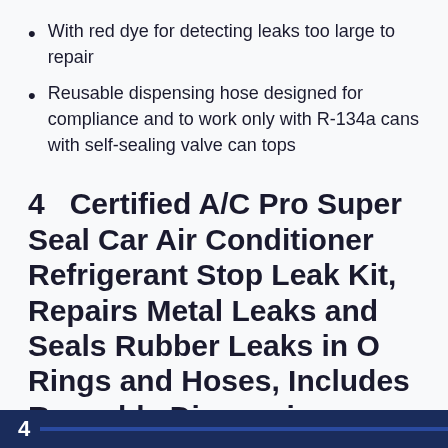With red dye for detecting leaks too large to repair
Reusable dispensing hose designed for compliance and to work only with R-134a cans with self-sealing valve can tops
4   Certified A/C Pro Super Seal Car Air Conditioner Refrigerant Stop Leak Kit, Repairs Metal Leaks and Seals Rubber Leaks in O Rings and Hoses, Includes Reusable Dispensing Hose, 3 Oz, InterDynamics